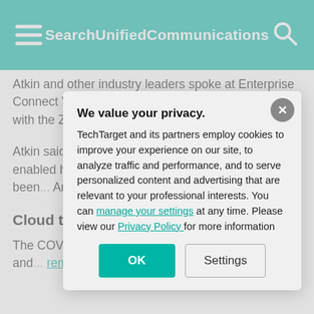SearchUnifiedCommunications
Atkin and other industry leaders spoke at Enterprise Connect Virtual about supporting workplace flexibility with the Zoom Phone system.
Atkin said Gilead began with a pre-deployment that enabled home w... didn't require usi... Phone has been... America, central...
Cloud teleph... management...
The COVID-19 p... reevaluate their ... investments and... remote and hybr... answer is to con...
We value your privacy. TechTarget and its partners employ cookies to improve your experience on our site, to analyze traffic and performance, and to serve personalized content and advertising that are relevant to your professional interests. You can manage your settings at any time. Please view our Privacy Policy for more information